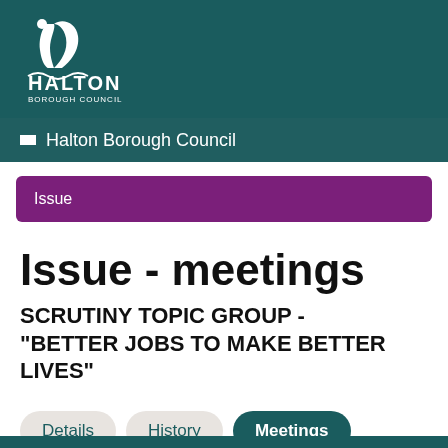[Figure (logo): Halton Borough Council logo — white text and stylized heron icon on teal background]
Halton Borough Council
Issue
Issue - meetings
SCRUTINY TOPIC GROUP - "BETTER JOBS TO MAKE BETTER LIVES"
Details
History
Meetings